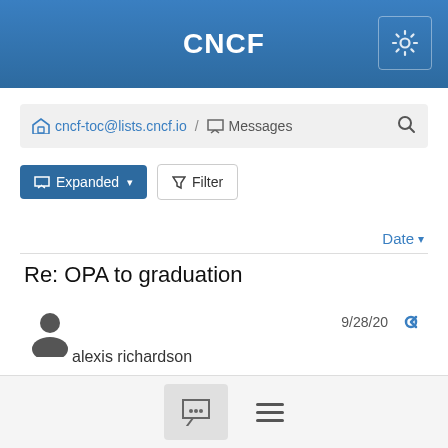CNCF
cncf-toc@lists.cncf.io / Messages
Expanded  Filter
Date
Re: OPA to graduation
alexis richardson  9/28/20
Something something "doomed to reinvent lisp"...
+1, nb